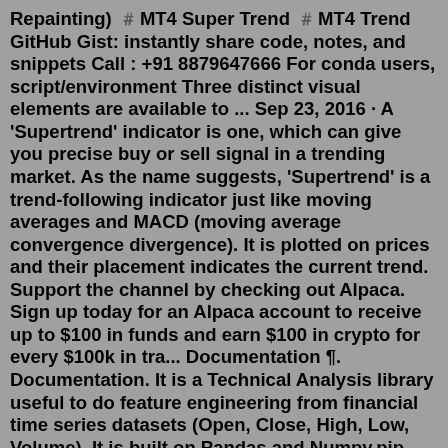Repainting) #️MT4 Super Trend #️MT4 Trend GitHub Gist: instantly share code, notes, and snippets Call : +91 8879647666 For conda users, script/environment Three distinct visual elements are available to ... Sep 23, 2016 · A 'Supertrend' indicator is one, which can give you precise buy or sell signal in a trending market. As the name suggests, 'Supertrend' is a trend-following indicator just like moving averages and MACD (moving average convergence divergence). It is plotted on prices and their placement indicates the current trend. Support the channel by checking out Alpaca. Sign up today for an Alpaca account to receive up to $100 in funds and earn $100 in crypto for every $100k in tra... Documentation ¶. Documentation. It is a Technical Analysis library useful to do feature engineering from financial time series datasets (Open, Close, High, Low, Volume). It is built on Pandas and Numpy.pip install pandas -taCopy PIP instructions. Latest version. Released: Jul 28, 2021. An easy to use Python & Pandas Extension with 130+ Technical Analysis